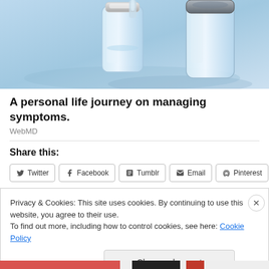[Figure (photo): Close-up photo of medical vials/vaccine bottles on a blue background]
A personal life journey on managing symptoms.
WebMD
Share this:
Privacy & Cookies: This site uses cookies. By continuing to use this website, you agree to their use. To find out more, including how to control cookies, see here: Cookie Policy
Close and accept